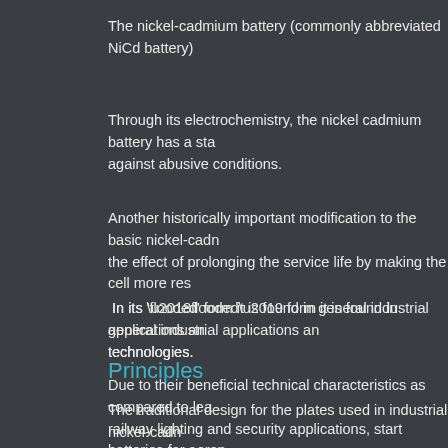The nickel-cadmium battery (commonly abbreviated NiCd battery)
Through its electrochemistry, the nickel cadmium battery has a sta against abusive conditions.
Another historically important modification to the basic nickel-cadn the effect of prolonging the service life by making the cell more res
In its ‘flooded’ form it is found in general industrial applications an technologies.
Due to their beneficial technical characteristics as compared to lea railway lighting and security applications, start batteries for aerop
Principles
The traditional design for the plates used in industrial nickel-cadn compressed briquettes, are enclosed in perforated pockets produ